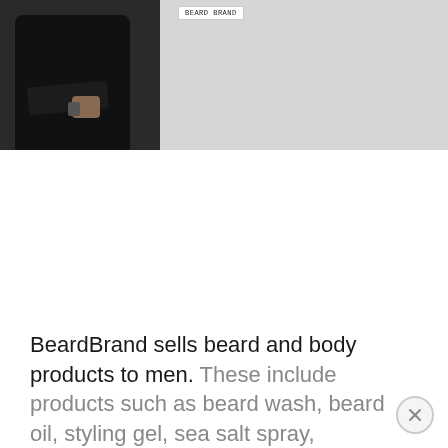[Figure (photo): Photo of a man in a black t-shirt with arms crossed, against a light grey background. A small white label/logo box is visible in the upper center area of the image.]
BeardBrand sells beard and body products to men. These include products such as beard wash, beard oil, styling gel, sea salt spray,